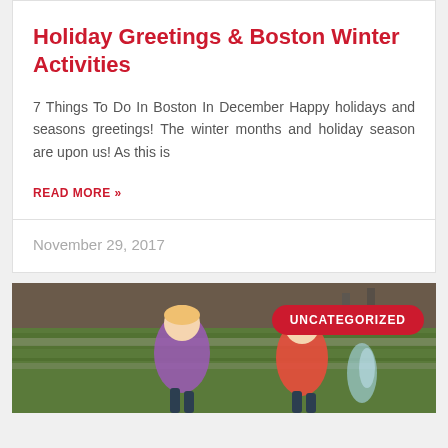Holiday Greetings & Boston Winter Activities
7 Things To Do In Boston In December Happy holidays and seasons greetings! The winter months and holiday season are upon us! As this is
READ MORE »
November 29, 2017
[Figure (photo): Two children running near a fountain outdoors on grass, with an UNCATEGORIZED badge overlay]